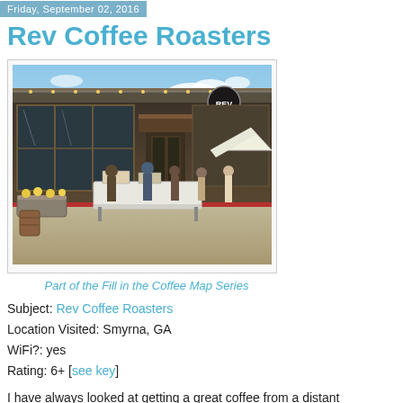Friday, September 02, 2016
Rev Coffee Roasters
[Figure (photo): Exterior of Rev Coffee Roasters in Smyrna, GA. A rustic building with large garage-style windows, an awning, outdoor market tables with white tablecloths, people browsing, planters with flowers, a tent canopy, and blue sky with clouds.]
Part of the Fill in the Coffee Map Series
Subject: Rev Coffee Roasters
Location Visited: Smyrna, GA
WiFi?: yes
Rating: 6+ [see key]
I have always looked at getting a great coffee from a distant